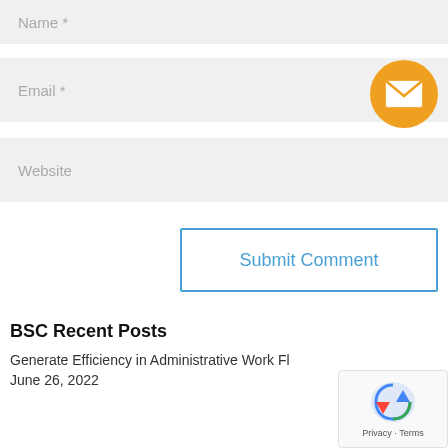Name *
Email *
Website
[Figure (illustration): Orange circular email icon with white envelope symbol]
Submit Comment
BSC Recent Posts
Generate Efficiency in Administrative Work Fl
June 26, 2022
[Figure (illustration): reCAPTCHA badge with Privacy and Terms text]